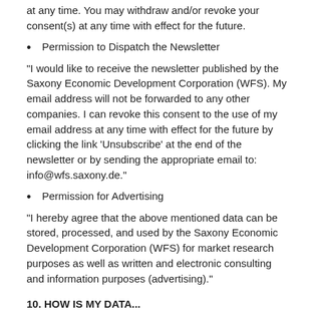at any time. You may withdraw and/or revoke your consent(s) at any time with effect for the future.
Permission to Dispatch the Newsletter
“I would like to receive the newsletter published by the Saxony Economic Development Corporation (WFS). My email address will not be forwarded to any other companies. I can revoke this consent to the use of my email address at any time with effect for the future by clicking the link ‘Unsubscribe’ at the end of the newsletter or by sending the appropriate email to: info@wfs.saxony.de.”
Permission for Advertising
“I hereby agree that the above mentioned data can be stored, processed, and used by the Saxony Economic Development Corporation (WFS) for market research purposes as well as written and electronic consulting and information purposes (advertising).”
10. HOW IS MY DATA...